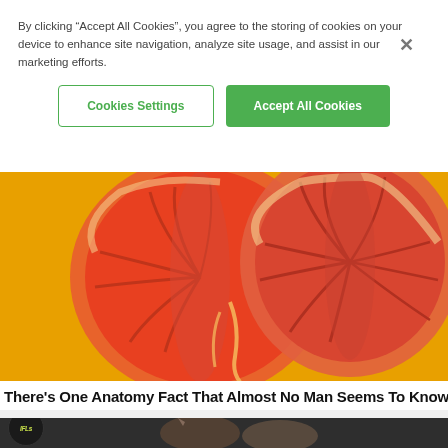By clicking “Accept All Cookies”, you agree to the storing of cookies on your device to enhance site navigation, analyze site usage, and assist in our marketing efforts.
Cookies Settings
Accept All Cookies
[Figure (photo): A halved red grapefruit on a yellow/orange background, viewed from above, showing the inner flesh and segments.]
There's One Anatomy Fact That Almost No Man Seems To Know
[Figure (photo): Dark background image with IFLS logo (circular, dark with yellow-green italic text) and two people/characters visible at the bottom of the page.]